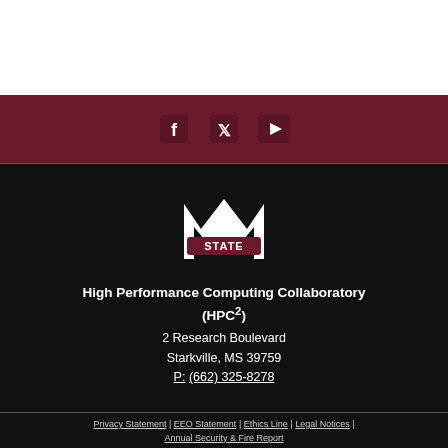[Figure (logo): MSU State logo - white M with STATE banner on black background]
High Performance Computing Collaboratory (HPC²)
2 Research Boulevard
Starkville, MS 39759
P: (662) 325-8278
Privacy Statement | EEO Statement | Ethics Line | Legal Notices | Annual Security & Fire Report